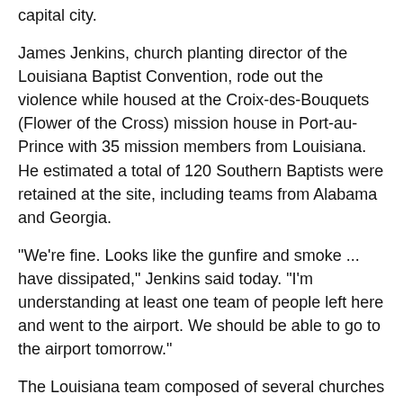capital city.
James Jenkins, church planting director of the Louisiana Baptist Convention, rode out the violence while housed at the Croix-des-Bouquets (Flower of the Cross) mission house in Port-au-Prince with 35 mission members from Louisiana. He estimated a total of 120 Southern Baptists were retained at the site, including teams from Alabama and Georgia.
"We're fine. Looks like the gunfire and smoke ... have dissipated," Jenkins said today. "I'm understanding at least one team of people left here and went to the airport. We should be able to go to the airport tomorrow."
The Louisiana team composed of several churches arrived in Haiti July 5, just a day before violence erupted in response to spiking gas prices.
"This happened basically on the second day we were here," Jenkins said. Mission team members who had split into three groups to conduct pastor training, Vacation Bible School and